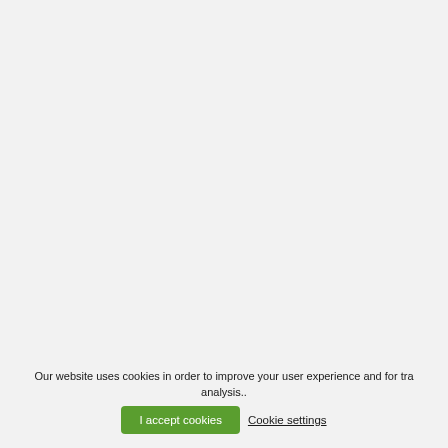Our website uses cookies in order to improve your user experience and for traffic analysis..  I accept cookies  Cookie settings